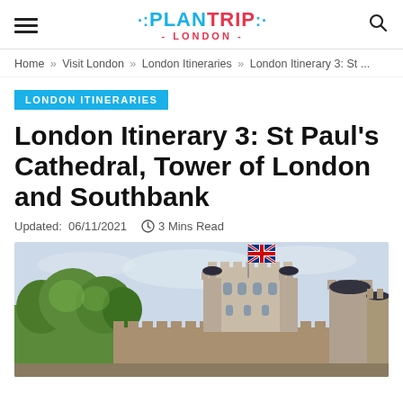PLANTRIP LONDON — navigation header with hamburger menu and search icon
Home » Visit London » London Itineraries » London Itinerary 3: St ...
LONDON ITINERARIES
London Itinerary 3: St Paul's Cathedral, Tower of London and Southbank
Updated: 06/11/2021  ⏱ 3 Mins Read
[Figure (photo): Photo of the Tower of London showing stone battlements, a tall central tower with turrets, a Union Jack flag flying on a flagpole, and green trees on the left side under a pale blue sky.]